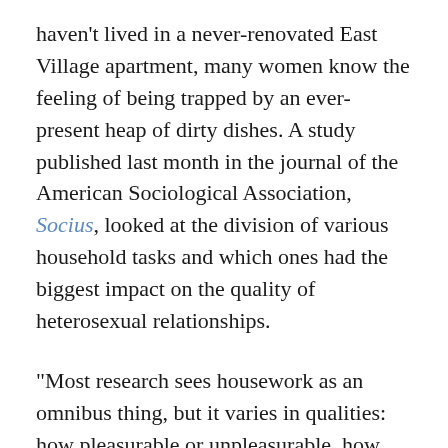haven't lived in a never-renovated East Village apartment, many women know the feeling of being trapped by an ever-present heap of dirty dishes. A study published last month in the journal of the American Sociological Association, Socius, looked at the division of various household tasks and which ones had the biggest impact on the quality of heterosexual relationships.
"Most research sees housework as an omnibus thing, but it varies in qualities: how pleasurable or unpleasurable, how often it needs to be done, how gendered it is," says Dan Carlson, assistant professor of family and consumer studies at the University of Utah, one of the study's authors. Men reported the most dissatisfaction when women did the majority of home maintenance, likely because it's a violation of gender norms, Carlson explains. Yet for women